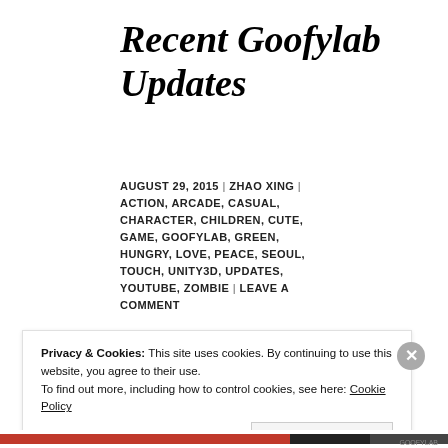Recent Goofylab Updates
AUGUST 29, 2015 | ZHAO XING | ACTION, ARCADE, CASUAL, CHARACTER, CHILDREN, CUTE, GAME, GOOFYLAB, GREEN, HUNGRY, LOVE, PEACE, SEOUL, TOUCH, UNITY3D, UPDATES, YOUTUBE, ZOMBIE | LEAVE A COMMENT
[Figure (screenshot): Game screenshot showing character sprite and score of 44 in green]
Privacy & Cookies: This site uses cookies. By continuing to use this website, you agree to their use.
To find out more, including how to control cookies, see here: Cookie Policy
Close and accept